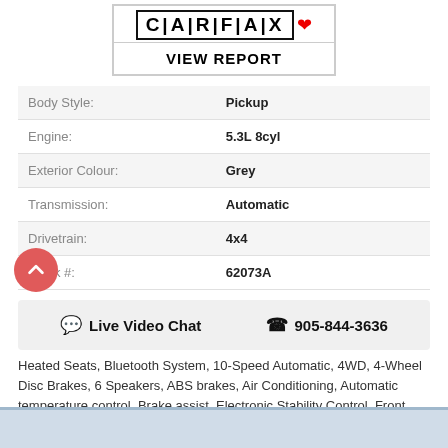[Figure (logo): CARFAX Canada logo with maple leaf and VIEW REPORT button]
| Body Style: | Pickup |
| Engine: | 5.3L 8cyl |
| Exterior Colour: | Grey |
| Transmission: | Automatic |
| Drivetrain: | 4x4 |
| Stock #: | 62073A |
Live Video Chat   905-844-3636
Heated Seats, Bluetooth System, 10-Speed Automatic, 4WD, 4-Wheel Disc Brakes, 6 Speakers, ABS brakes, Air Conditioning, Automatic temperature control, Brake assist, Electronic Stability Control, Front dual zone A/C, Panic alarm, Power driver seat, Power steering, Power windo.....Read More